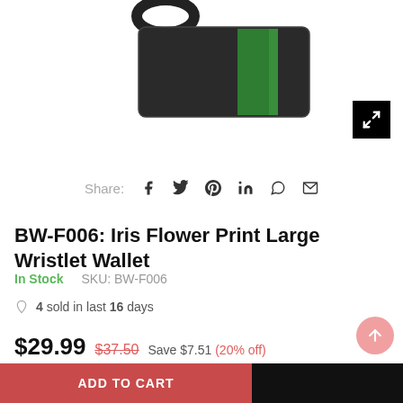[Figure (photo): Product photo of a black wristlet wallet with green iris flower print, partially visible at top of page, with an expand/fullscreen button in the upper right.]
Share:  f  𝕥  𝗣  in  ⊕  ✉
BW-F006: Iris Flower Print Large Wristlet Wallet
In Stock    SKU: BW-F006
4 sold in last 16 days
$29.99  $37.50  Save $7.51  (20% off)
Shipping calculated at checkout.
ADD TO CART